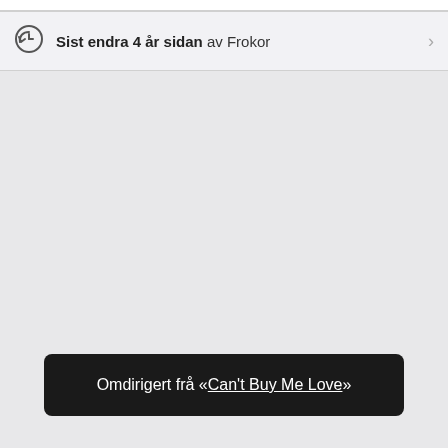Sist endra 4 år sidan av Frokor
Omdirigert frå «Can't Buy Me Love»